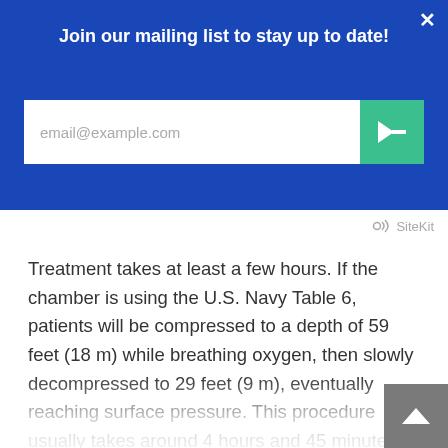Join our mailing list to stay up to date!
email@example.com
[Figure (screenshot): SiteKit logo/branding watermark in gray]
Treatment takes at least a few hours. If the chamber is using the U.S. Navy Table 6, patients will be compressed to a depth of 59 feet (18 m) while breathing oxygen, then slowly decompressed to 29 feet (9 m), eventually reaching surface pressure. This procedure usually takes around 4 hours and 45 minutes.